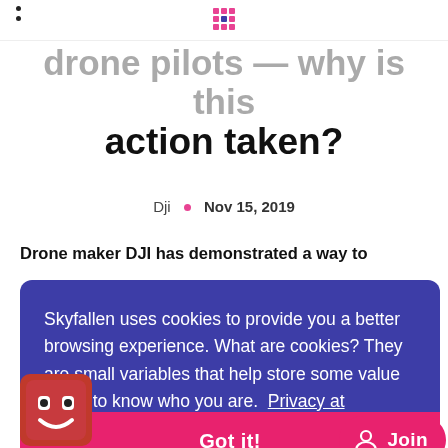• • [grid icon]
drone pilots — why is this action taken?
Dji  •  Nov 15, 2019
Drone maker DJI has demonstrated a way to quickly identify a nearby drone, and pinpoint the lo...
Th... d "Wi-Fi Aw... broadcasts inf...
Skyfallen uses cookies to provide you a better browsing experience. What are cookies? They are small variables that help store some value for us to know who you are.  Privacy at Skyfallen
Got it!
Join
...company said it... help preve...